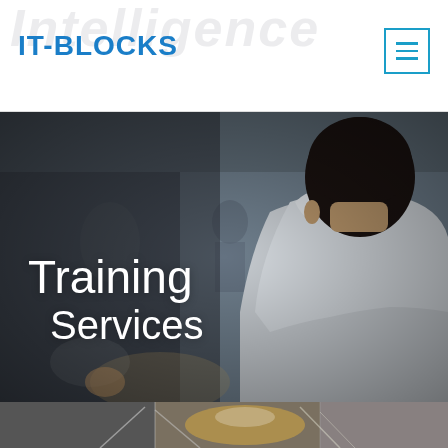IT-BLOCKS
[Figure (photo): A man in a white shirt viewed from behind, facing a blurred presentation scene. Text overlay reads 'Training Services'.]
Training Services
[Figure (photo): Bottom strip showing a blurred interior architectural/lighting scene in dark grey tones.]